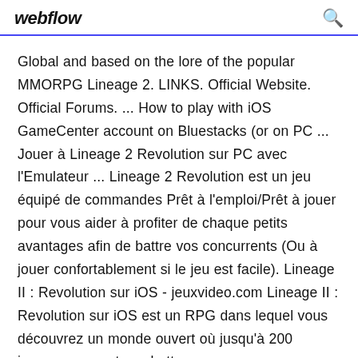webflow
Global and based on the lore of the popular MMORPG Lineage 2. LINKS. Official Website. Official Forums. ... How to play with iOS GameCenter account on Bluestacks (or on PC ... Jouer à Lineage 2 Revolution sur PC avec l'Emulateur ... Lineage 2 Revolution est un jeu équipé de commandes Prêt à l'emploi/Prêt à jouer pour vous aider à profiter de chaque petits avantages afin de battre vos concurrents (Ou à jouer confortablement si le jeu est facile). Lineage II : Revolution sur iOS - jeuxvideo.com Lineage II : Revolution sur iOS est un RPG dans lequel vous découvrez un monde ouvert où jusqu'à 200 joueurs peuvent combattre en